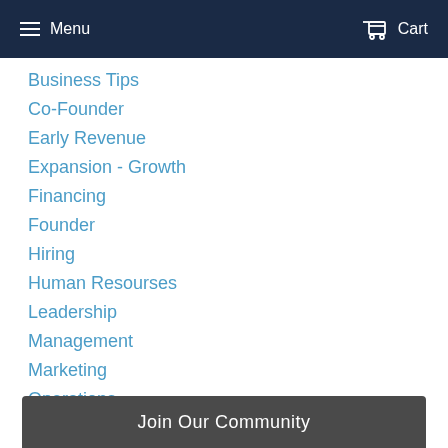Menu   Cart
Business Tips
Co-Founder
Early Revenue
Expansion - Growth
Financing
Founder
Hiring
Human Resourses
Leadership
Management
Marketing
Operations
Pre-Startup
Raw Startup
Recruiting
Join Our Community